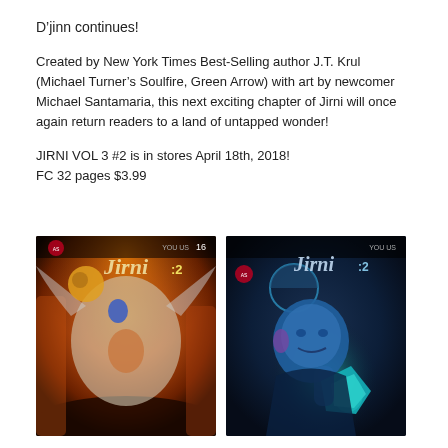D'jinn continues!
Created by New York Times Best-Selling author J.T. Krul (Michael Turner's Soulfire, Green Arrow) with art by newcomer Michael Santamaria, this next exciting chapter of Jirni will once again return readers to a land of untapped wonder!
JIRNI VOL 3 #2 is in stores April 18th, 2018!
FC 32 pages $3.99
[Figure (illustration): Comic book cover of Jirni Vol 3 #2 showing fantasy characters including a female warrior and a large creature against a fiery orange and brown background. Issue number 16 visible at top.]
[Figure (illustration): Alternative cover of Jirni Vol 3 #2 showing a bald blue-skinned villain holding a glowing teal crystal artifact against a dark blue background.]